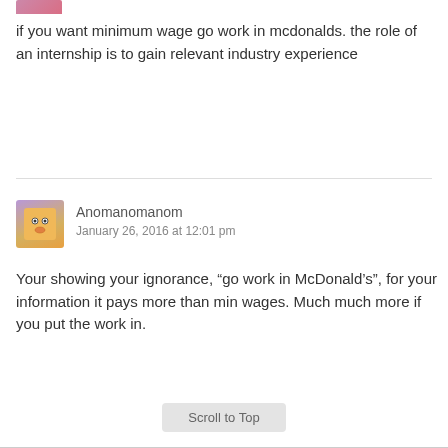[Figure (illustration): Small avatar thumbnail partially visible at top left, pink/purple colored]
if you want minimum wage go work in mcdonalds. the role of an internship is to gain relevant industry experience
[Figure (illustration): Square avatar icon with orange/yellow background showing a simple face emoji, purple border]
Anomanomanom
January 26, 2016 at 12:01 pm
Your showing your ignorance, “go work in McDonald’s”, for your information it pays more than min wages. Much much more if you put the work in.
Scroll to Top